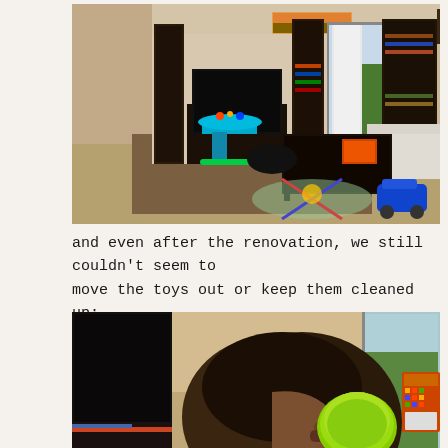[Figure (photo): Interior living room photo with toys on the floor, bookshelves, a TV, coffee table, sofa, and sliding glass door in the background.]
and even after the renovation, we still couldn't seem to move the toys out or keep them cleaned up:
[Figure (photo): Child holding a green toy/cup near mouth in a living room with TV and window visible in background.]